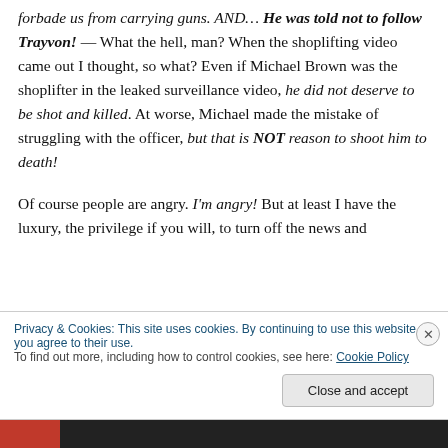forbade us from carrying guns. AND… He was told not to follow Trayvon! — What the hell, man? When the shoplifting video came out I thought, so what? Even if Michael Brown was the shoplifter in the leaked surveillance video, he did not deserve to be shot and killed. At worse, Michael made the mistake of struggling with the officer, but that is NOT reason to shoot him to death!

Of course people are angry. I'm angry! But at least I have the luxury, the privilege if you will, to turn off the news and
Privacy & Cookies: This site uses cookies. By continuing to use this website, you agree to their use.
To find out more, including how to control cookies, see here: Cookie Policy